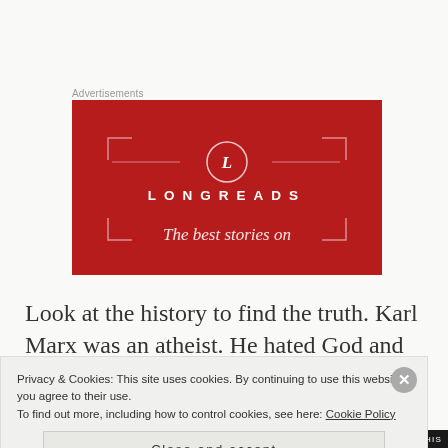Advertisements
[Figure (illustration): Longreads advertisement banner — red background with Longreads logo (circle with L) and tagline 'The best stories on']
Look at the history to find the truth. Karl Marx was an atheist. He hated God and wanted the State to replace the God of the Bible.
Privacy & Cookies: This site uses cookies. By continuing to use this website, you agree to their use.
To find out more, including how to control cookies, see here: Cookie Policy
[Close and accept]